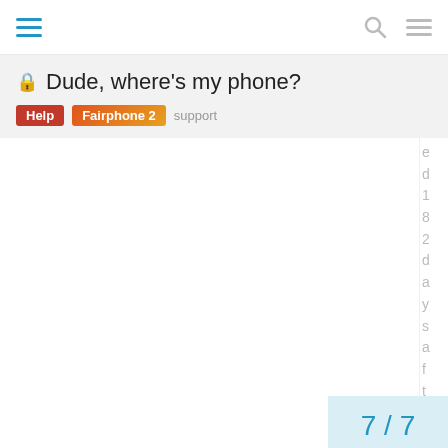Navigation bar with hamburger menu, search icon, and menu icon
🔒 Dude, where's my phone?
Help  Fairphone 2  support
e d 1 8 2 d a y s a f t e r n t
7 / 7